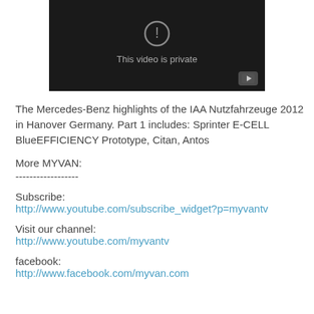[Figure (screenshot): YouTube video player showing 'This video is private' message on a black background with a play button icon in the bottom right.]
The Mercedes-Benz highlights of the IAA Nutzfahrzeuge 2012 in Hanover Germany. Part 1 includes: Sprinter E-CELL BlueEFFICIENCY Prototype, Citan, Antos
More MYVAN:
------------------
Subscribe:
http://www.youtube.com/subscribe_widget?p=myvantv
Visit our channel:
http://www.youtube.com/myvantv
facebook:
http://www.facebook.com/myvan.com